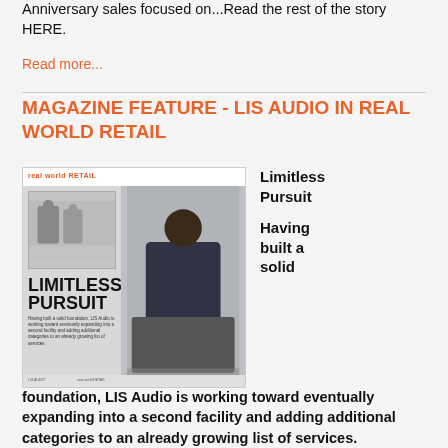Anniversary sales focused on...Read the rest of the story HERE.
Read more...
MAGAZINE FEATURE - LIS AUDIO IN REAL WORLD RETAIL
[Figure (photo): Magazine spread showing 'LIMITLESS PURSUIT' article about LIS Audio, featuring two people in a warehouse on the left panel and a person working at a table on the right panel.]
Limitless Pursuit

Having built a solid
foundation, LIS Audio is working toward eventually expanding into a second facility and adding additional categories to an already growing list of services.